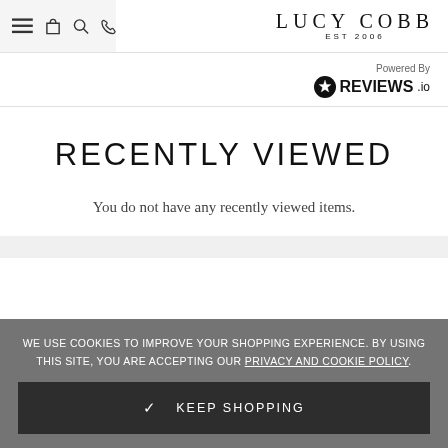Lucy Cobb EST 2006
[Figure (logo): Reviews.io logo with star icon and 'Powered By' text]
RECENTLY VIEWED
You do not have any recently viewed items.
WE USE COOKIES TO IMPROVE YOUR SHOPPING EXPERIENCE. BY USING THIS SITE, YOU ARE ACCEPTING OUR PRIVACY AND COOKIE POLICY.
✓ KEEP SHOPPING